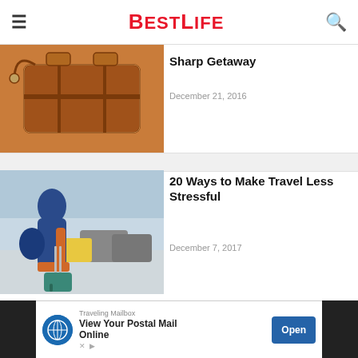BESTLIFE
[Figure (photo): Brown leather duffel bag on white background]
Sharp Getaway
December 21, 2016
[Figure (photo): Traveler with rolling suitcase and luggage at busy traffic drop-off area]
20 Ways to Make Travel Less Stressful
December 7, 2017
[Figure (screenshot): Traveling Mailbox advertisement: View Your Postal Mail Online, with Open button]